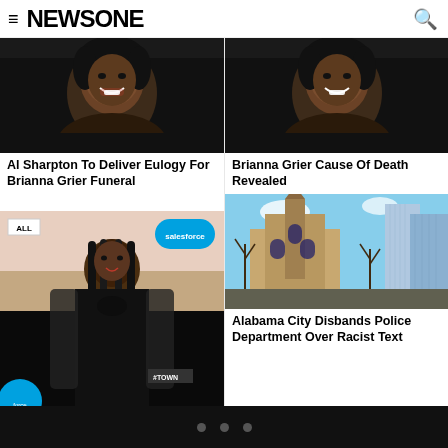NEWSONE
[Figure (photo): Portrait photo of young Black woman smiling - Brianna Grier, dark background]
Al Sharpton To Deliver Eulogy For Brianna Grier Funeral
[Figure (photo): Portrait photo of young Black woman smiling - Brianna Grier, dark background]
Brianna Grier Cause Of Death Revealed
[Figure (photo): Photo of woman in black outfit at event with Salesforce and The Town signage]
[Figure (photo): Photo of Alabama city street with historic church and modern buildings]
Alabama City Disbands Police Department Over Racist Text